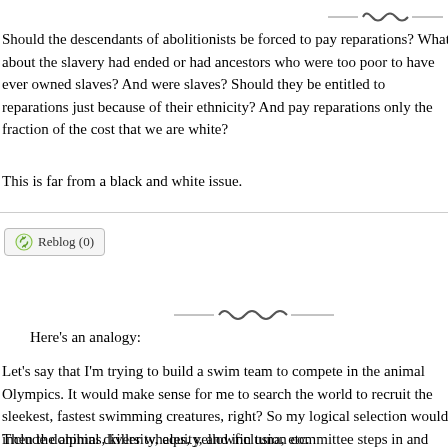[Figure (illustration): Decorative divider with infinity/wave symbol and horizontal lines]
Should the descendants of abolitionists be forced to pay reparations? What about those whose ancestors immigrated after slavery had ended or had ancestors who were too poor to have ever owned slaves? And what about blacks whose ancestors were slaves? Should they be entitled to reparations just because of their ethnicity? And should mixed-race people pay reparations only the fraction of the cost that we are white?
This is far from a black and white issue.
[Figure (other): Reblog (0) button]
[Figure (illustration): Decorative divider with infinity/wave symbol and horizontal lines]
Here's an analogy:
Let's say that I'm trying to build a swim team to compete in the animal Olympics. It would make sense for me to search the world to recruit the sleekest, fastest swimming creatures, right? So my logical selection would include dolphins, killer whales, yellowfin tuna, etc.
Then the animal diversity, equity, and inclusion committee steps in and says, "No, Mr.